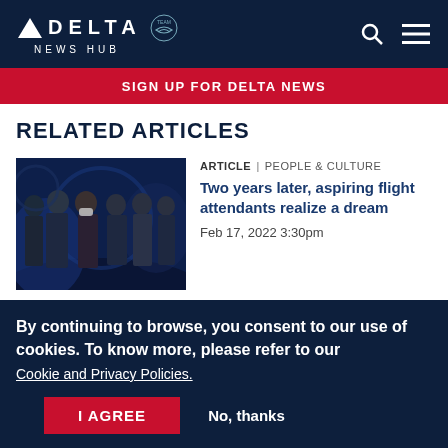DELTA NEWS HUB
SIGN UP FOR DELTA NEWS
RELATED ARTICLES
[Figure (photo): Group of people in formal/business attire standing in a line, some wearing masks, in a dark blue-lit venue.]
ARTICLE | PEOPLE & CULTURE
Two years later, aspiring flight attendants realize a dream
Feb 17, 2022 3:30pm
By continuing to browse, you consent to our use of cookies. To know more, please refer to our Cookie and Privacy Policies.